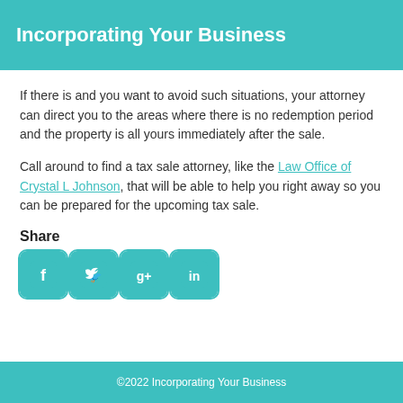Incorporating Your Business
If there is and you want to avoid such situations, your attorney can direct you to the areas where there is no redemption period and the property is all yours immediately after the sale.
Call around to find a tax sale attorney, like the Law Office of Crystal L Johnson, that will be able to help you right away so you can be prepared for the upcoming tax sale.
Share
[Figure (infographic): Four social media icon buttons: Facebook, Twitter, Google+, LinkedIn, each with teal rounded-square background]
©2022 Incorporating Your Business